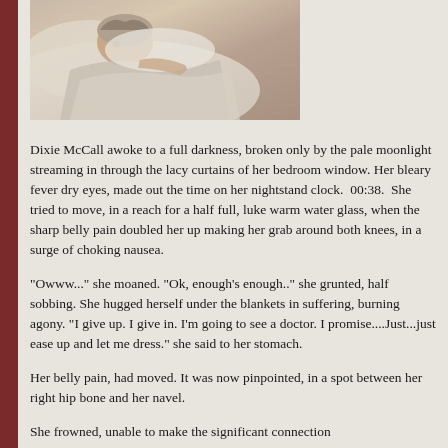[Figure (photo): A person lying in bed, appearing ill or sleeping, with soft lighting and bedding visible.]
Dixie McCall awoke to a full darkness, broken only by the pale moonlight streaming in through the lacy curtains of her bedroom window. Her bleary fever dry eyes, made out the time on her nightstand clock.  00:38.  She tried to move, in a reach for a half full, luke warm water glass, when the sharp belly pain doubled her up making her grab around both knees, in a surge of choking nausea.
"Owww..." she moaned. "Ok, enough's enough.." she grunted, half sobbing. She hugged herself under the blankets in suffering, burning agony. "I give up. I give in. I'm going to see a doctor. I promise....Just...just ease up and let me dress." she said to her stomach.
Her belly pain, had moved. It was now pinpointed, in a spot between her right hip bone and her navel.
She frowned, unable to make the significant connection